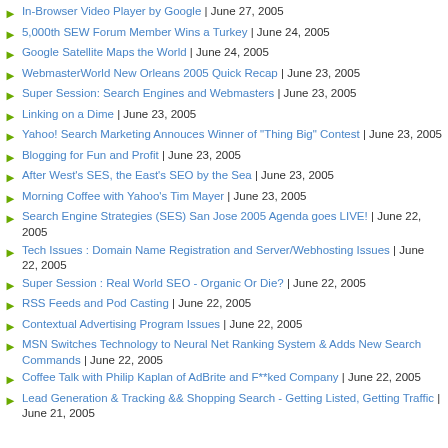In-Browser Video Player by Google | June 27, 2005
5,000th SEW Forum Member Wins a Turkey | June 24, 2005
Google Satellite Maps the World | June 24, 2005
WebmasterWorld New Orleans 2005 Quick Recap | June 23, 2005
Super Session: Search Engines and Webmasters | June 23, 2005
Linking on a Dime | June 23, 2005
Yahoo! Search Marketing Annouces Winner of "Thing Big" Contest | June 23, 2005
Blogging for Fun and Profit | June 23, 2005
After West's SES, the East's SEO by the Sea | June 23, 2005
Morning Coffee with Yahoo's Tim Mayer | June 23, 2005
Search Engine Strategies (SES) San Jose 2005 Agenda goes LIVE! | June 22, 2005
Tech Issues : Domain Name Registration and Server/Webhosting Issues | June 22, 2005
Super Session : Real World SEO - Organic Or Die? | June 22, 2005
RSS Feeds and Pod Casting | June 22, 2005
Contextual Advertising Program Issues | June 22, 2005
MSN Switches Technology to Neural Net Ranking System & Adds New Search Commands | June 22, 2005
Coffee Talk with Philip Kaplan of AdBrite and F**ked Company | June 22, 2005
Lead Generation & Tracking && Shopping Search - Getting Listed, Getting Traffic | June 21, 2005